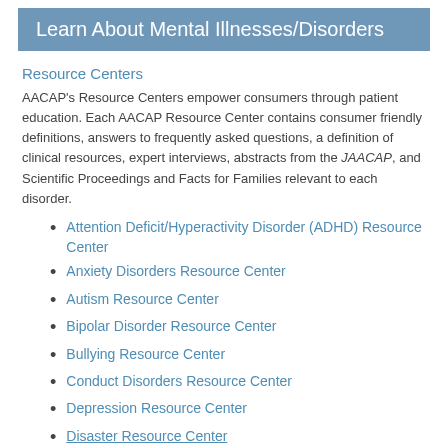Learn About Mental Illnesses/Disorders
Resource Centers
AACAP's Resource Centers empower consumers through patient education. Each AACAP Resource Center contains consumer friendly definitions, answers to frequently asked questions, a definition of clinical resources, expert interviews, abstracts from the JAACAP, and Scientific Proceedings and Facts for Families relevant to each disorder.
Attention Deficit/Hyperactivity Disorder (ADHD) Resource Center
Anxiety Disorders Resource Center
Autism Resource Center
Bipolar Disorder Resource Center
Bullying Resource Center
Conduct Disorders Resource Center
Depression Resource Center
Disaster Resource Center